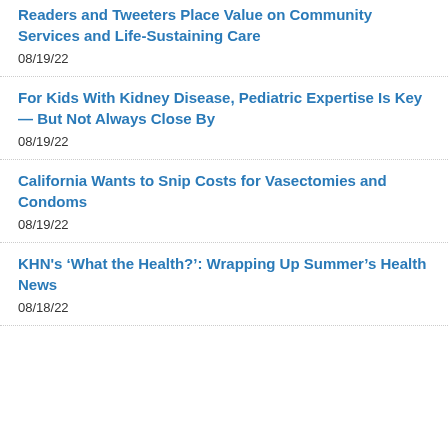Readers and Tweeters Place Value on Community Services and Life-Sustaining Care
08/19/22
For Kids With Kidney Disease, Pediatric Expertise Is Key — But Not Always Close By
08/19/22
California Wants to Snip Costs for Vasectomies and Condoms
08/19/22
KHN's ‘What the Health?’: Wrapping Up Summer’s Health News
08/18/22